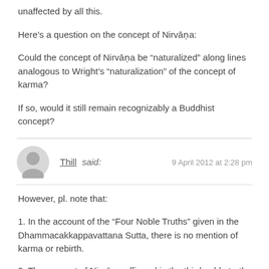unaffected by all this.
Here’s a question on the concept of Nirvāṇa:
Could the concept of Nirvāṇa be “naturalized” along lines analogous to Wright’s “naturalization” of the concept of karma?
If so, would it still remain recognizably a Buddhist concept?
Thill said: 9 April 2012 at 2:28 pm
However, pl. note that:
1. In the account of the “Four Noble Truths” given in the Dhammacakkappavattana Sutta, there is no mention of karma or rebirth.
2. The concept of Nirvāṇa affirmed in the third noble truth is already a “naturalized” one: “Cessation of suffering, as a noble truth, is this: It is remainderless…